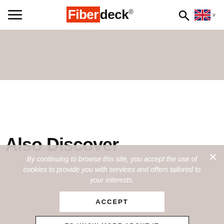Fiberdeck® navigation header with hamburger menu, logo, search icon, and UK language selector
Also Discover
By continuing to browse this site, you accept the use of cookies to provide you with services and offers tailored to your interests.
ACCEPT
TO KNOW MORE ABOUT IT